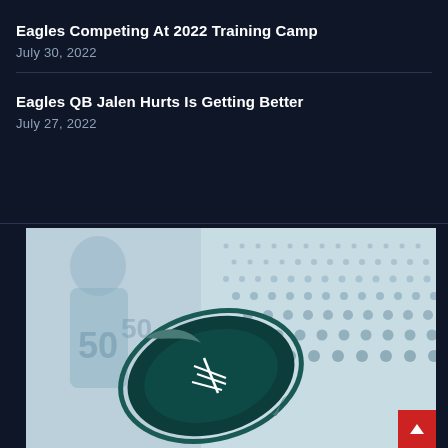Eagles Competing At 2022 Training Camp
July 30, 2022
Eagles QB Jalen Hurts Is Getting Better
July 27, 2022
[Figure (illustration): Philadelphia Eagles themed graphic with a football player wearing jersey #50 and an Eagles logo football in teal and dark navy, with a dot pattern background on the right side.]